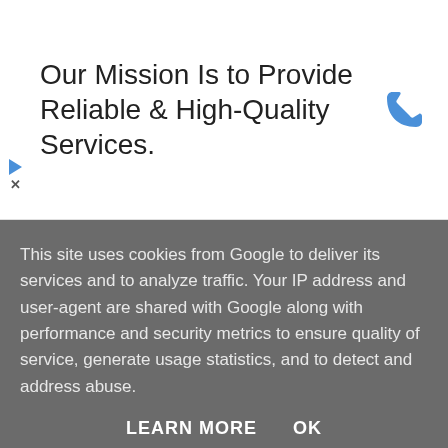[Figure (other): Advertisement banner with phone icon and text 'Our Mission Is to Provide Reliable & High-Quality Services.']
Labels: craft, fabric, sewing, stash
COMMENTS
Anonymous  25 November 2011 at 13:21
This site uses cookies from Google to deliver its services and to analyze traffic. Your IP address and user-agent are shared with Google along with performance and security metrics to ensure quality of service, generate usage statistics, and to detect and address abuse.
LEARN MORE   OK